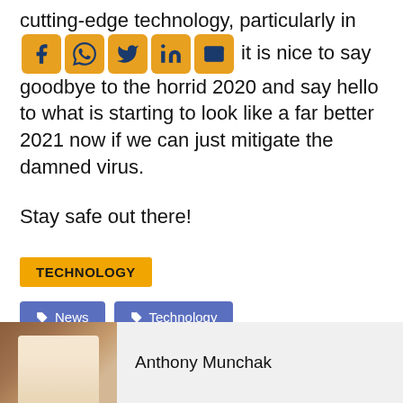cutting-edge technology, particularly in [social icons] it is nice to say goodbye to the horrid 2020 and say hello to what is starting to look like a far better 2021 now if we can just mitigate the damned virus.
Stay safe out there!
TECHNOLOGY
News
Technology
Anthony Munchak